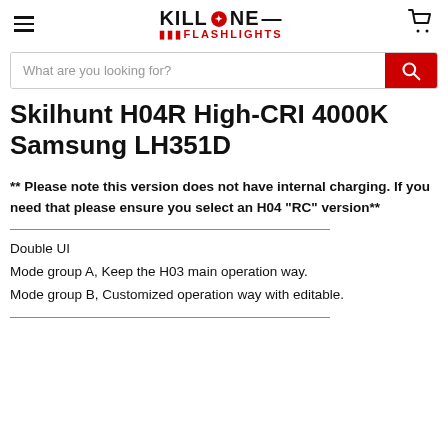KILLZONE FLASHLIGHTS
Skilhunt H04R High-CRI 4000K Samsung LH351D
** Please note this version does not have internal charging. If you need that please ensure you select an H04 “RC” version**
Double UI
Mode group A, Keep the H03 main operation way.
Mode group B, Customized operation way with editable.